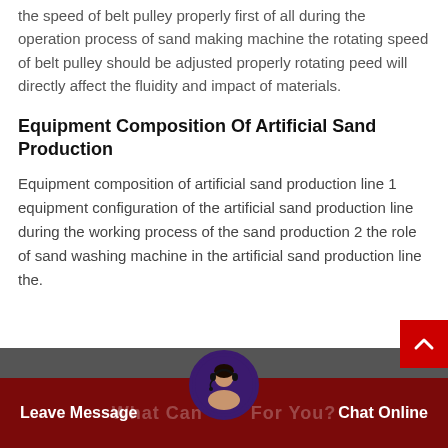the speed of belt pulley properly first of all during the operation process of sand making machine the rotating speed of belt pulley should be adjusted properly rotating peed will directly affect the fluidity and impact of materials.
Equipment Composition Of Artificial Sand Production
Equipment composition of artificial sand production line 1 equipment configuration of the artificial sand production line during the working process of the sand production 2 the role of sand washing machine in the artificial sand production line the.
[Figure (photo): Customer service representative avatar in circular frame at bottom of page]